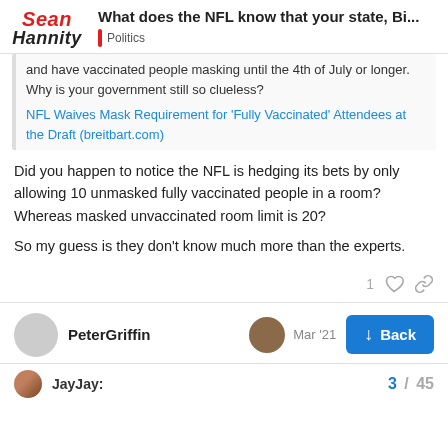What does the NFL know that your state, Bi... | Politics
and have vaccinated people masking until the 4th of July or longer. Why is your government still so clueless?
NFL Waives Mask Requirement for 'Fully Vaccinated' Attendees at the Draft (breitbart.com)
Did you happen to notice the NFL is hedging its bets by only allowing 10 unmasked fully vaccinated people in a room? Whereas masked unvaccinated room limit is 20?

So my guess is they don't know much more than the experts.
PeterGriffin  Mar '21
JayJay:  3 / 45